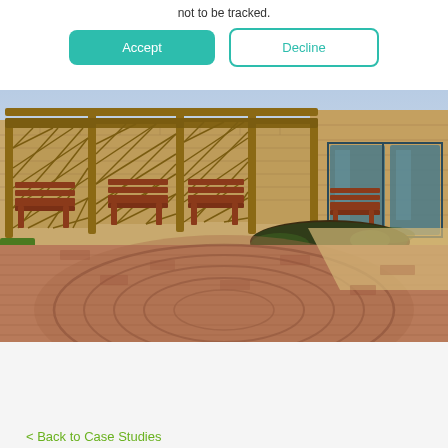not to be tracked.
Accept
Decline
[Figure (photo): Outdoor courtyard area with brick paving arranged in a circular pattern. Three wooden benches are placed in front of a curved trellis/lattice fence made of wood. A brick building with large glass doors is visible on the right. Flower beds with plants are visible near the building. The pavement has a decorative circular motif.]
< Back to Case Studies